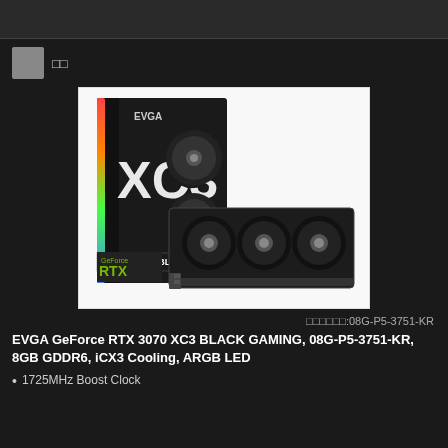[Figure (photo): EVGA GeForce RTX 3070 XC3 BLACK product box and graphics card photo showing triple-fan cooler design with EVGA XC3 branding]
商品番号:08G-P5-3751-KR
EVGA GeForce RTX 3070 XC3 BLACK GAMING, 08G-P5-3751-KR, 8GB GDDR6, iCX3 Cooling, ARGB LED
1725MHz Boost Clock